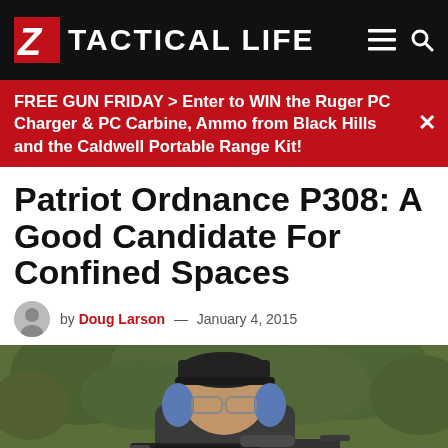TACTICAL LIFE
FREE GUN FRIDAY > Enter to WIN the Ruger PC Charger & PC Carbine, Ammo from Black Hills and the Caldwell Portable Range Kit!
Patriot Ordnance P308: A Good Candidate For Confined Spaces
by Doug Larson — January 4, 2015
[Figure (photo): A person wearing a black cap, glasses, and blue ear protection aiming a black tactical rifle, with green foliage in the background.]